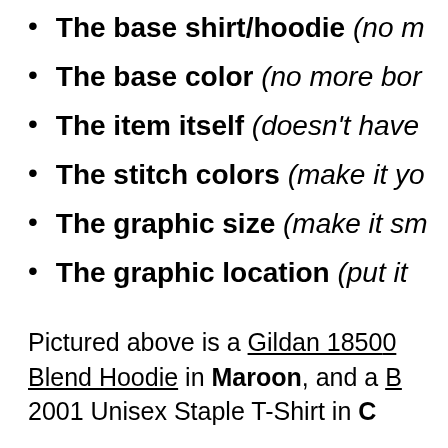The base shirt/hoodie (no m...
The base color (no more bor...
The item itself (doesn't have...
The stitch colors (make it yo...
The graphic size (make it sm...
The graphic location (put it ...
Pictured above is a Gildan 18500... Blend Hoodie in Maroon, and a B... 2001 Unisex Staple T-Shirt in C...